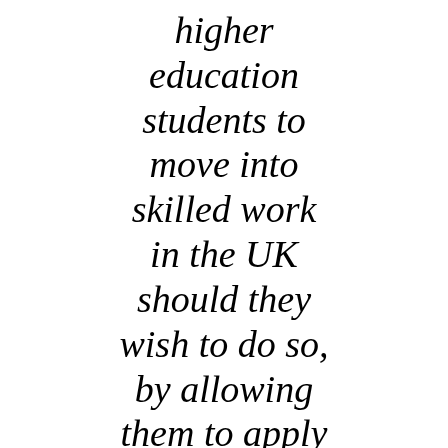higher education students to move into skilled work in the UK should they wish to do so, by allowing them to apply for a skilled work visa three months